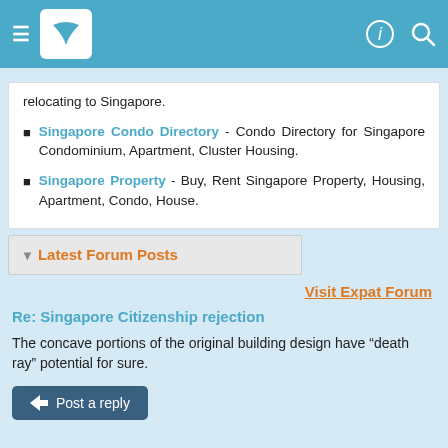Navigation header bar with hamburger menu, logo, info icon and search icon
relocating to Singapore.
Singapore Condo Directory - Condo Directory for Singapore Condominium, Apartment, Cluster Housing.
Singapore Property - Buy, Rent Singapore Property, Housing, Apartment, Condo, House.
▼ Latest Forum Posts
Visit Expat Forum
Re: Singapore Citizenship rejection
The concave portions of the original building design have “death ray” potential for sure.
Post a reply